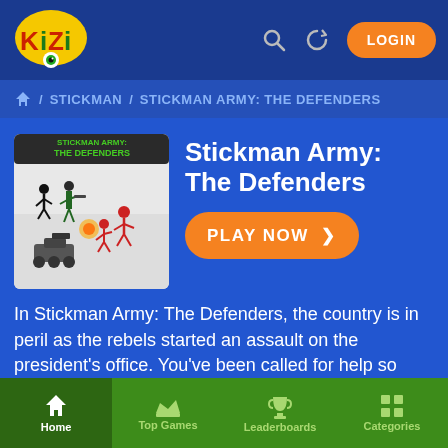Kizi gaming site header with logo, search, history, and LOGIN button
Home / STICKMAN / STICKMAN ARMY: THE DEFENDERS
Stickman Army: The Defenders
PLAY NOW >
[Figure (screenshot): Stickman Army: The Defenders game thumbnail showing stickman characters in battle]
In Stickman Army: The Defenders, the country is in peril as the rebels started an assault on the president's office. You've been called for help so take matters into your hands, and command your stick figures to repel the attacks. Can you stop these outlaws before they assassinate the president and wreak
Home   Top Games   Leaderboards   Categories